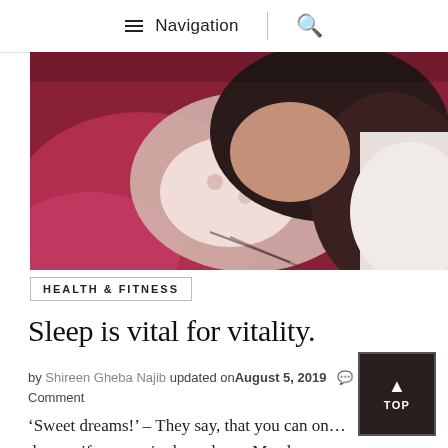≡ Navigation | 🔍
[Figure (photo): A parent and newborn baby lying together, the parent kissing or nuzzling the baby. The baby is in a floral outfit, partially swaddled. Warm, intimate photograph.]
HEALTH & FITNESS
Sleep is vital for vitality.
by Shireen Gheba Najib updated on August 5, 2019  💬 Leave a Comment
'Sweet dreams!' – They say, that you can only dream if you are in deep sleep.  My sleep was